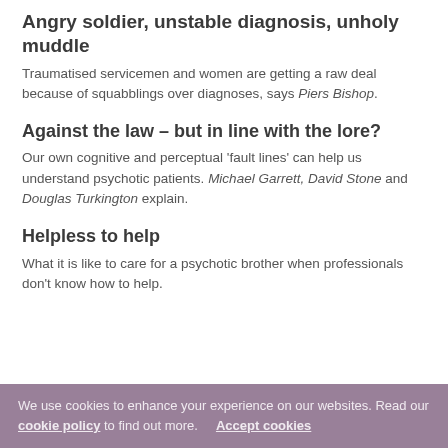Angry soldier, unstable diagnosis, unholy muddle
Traumatised servicemen and women are getting a raw deal because of squabblings over diagnoses, says Piers Bishop.
Against the law – but in line with the lore?
Our own cognitive and perceptual 'fault lines' can help us understand psychotic patients. Michael Garrett, David Stone and Douglas Turkington explain.
Helpless to help
What it is like to care for a psychotic brother when professionals don't know how to help.
We use cookies to enhance your experience on our websites. Read our cookie policy to find out more. Accept cookies